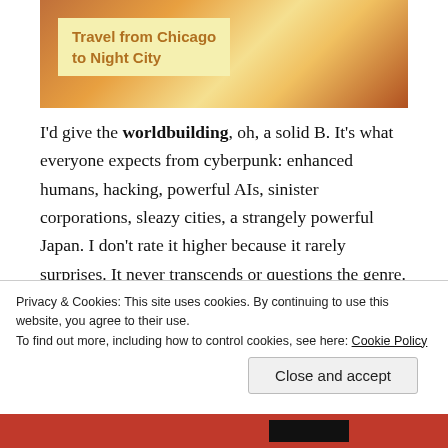[Figure (photo): Image of a screen or sign showing the text 'Travel from Chicago to Night City' in bold orange/gold text on a light background, with warm orange-brown lighting around it.]
I'd give the worldbuilding, oh, a solid B. It's what everyone expects from cyberpunk: enhanced humans, hacking, powerful AIs, sinister corporations, sleazy cities, a strangely powerful Japan. I don't rate it higher because it rarely surprises. It never transcends or questions the genre.
The genre goes down easily because we more or
Privacy & Cookies: This site uses cookies. By continuing to use this website, you agree to their use.
To find out more, including how to control cookies, see here: Cookie Policy
Close and accept